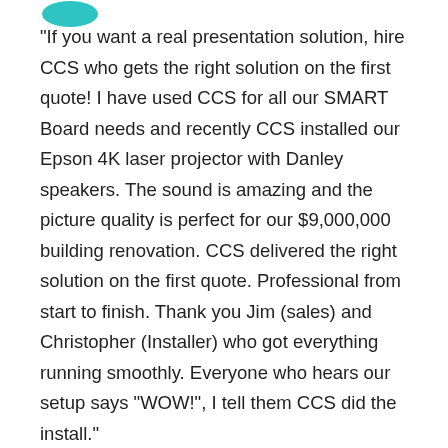[Figure (logo): Teal/cyan colored logo partially visible at the top left of the page]
"If you want a real presentation solution, hire CCS who gets the right solution on the first quote! I have used CCS for all our SMART Board needs and recently CCS installed our Epson 4K laser projector with Danley speakers. The sound is amazing and the picture quality is perfect for our $9,000,000 building renovation. CCS delivered the right solution on the first quote. Professional from start to finish. Thank you Jim (sales) and Christopher (Installer) who got everything running smoothly. Everyone who hears our setup says "WOW!", I tell them CCS did the install."